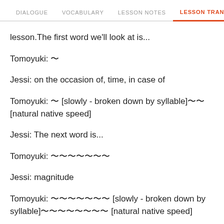DIALOGUE   VOCABULARY   LESSON NOTES   LESSON TRANSCRIPT   K
lesson.The first word we'll look at is...
Tomoyuki: 〜
Jessi: on the occasion of, time, in case of
Tomoyuki: 〜 [slowly - broken down by syllable]〜〜 [natural native speed]
Jessi: The next word is...
Tomoyuki: 〜〜〜〜〜〜〜
Jessi: magnitude
Tomoyuki: 〜〜〜〜〜〜〜 [slowly - broken down by syllable]〜〜〜〜〜〜〜〜 [natural native speed]